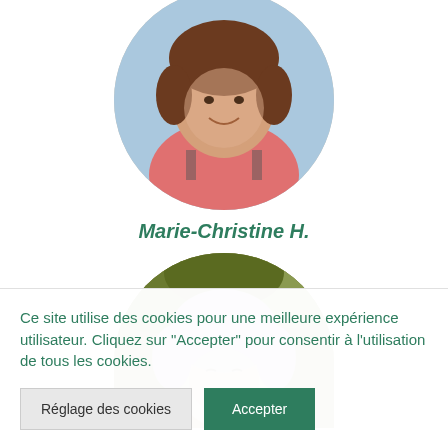[Figure (photo): Circular profile photo of a woman with brown hair wearing a pink shirt, smiling, outdoor background]
Marie-Christine H.
[Figure (photo): Circular profile photo of a woman with light gray/lavender hair, partially visible, outdoor background with foliage]
Ce site utilise des cookies pour une meilleure expérience utilisateur. Cliquez sur "Accepter" pour consentir à l'utilisation de tous les cookies.
Réglage des cookies
Accepter